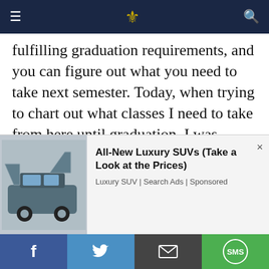Navigation bar with menu, logo, and search icons
fulfilling graduation requirements, and you can figure out what you need to take next semester. Today, when trying to chart out what classes I need to take from here until graduation, I was furiously scribbling course names, somehow trying to organize it.
It appears, though, that eLion will be getting some improvements. Unfortunately, MyMAP uses a different programming language than Penn State does, so Penn State will be unable to implement it
[Figure (photo): Advertisement showing a luxury SUV with open hatch and doors. Text: All-New Luxury SUVs (Take a Look at the Prices). Source: Luxury SUV | Search Ads | Sponsored]
Social sharing bar with Facebook, Twitter, Email, and SMS buttons